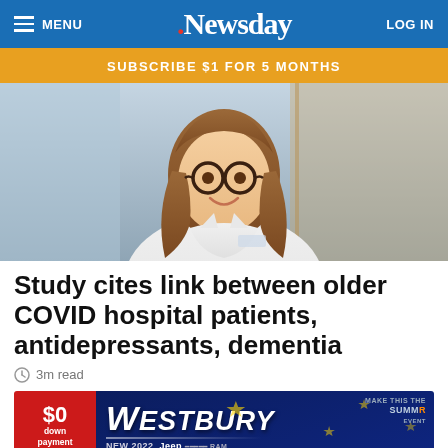MENU  .Newsday  LOG IN
SUBSCRIBE $1 FOR 5 MONTHS
[Figure (photo): A woman in a white doctor's coat with glasses and long brown hair, smiling, shown in a professional headshot photo.]
Study cites link between older COVID hospital patients, antidepressants, dementia
3m read
[Figure (other): Advertisement banner for Westbury Jeep dealership. Features '$0 down payment' on red background and 'WESTBURY NEW 2022 Jeep' text on dark blue background with 'MAKE THIS THE SUMMER EVENT' tagline.]